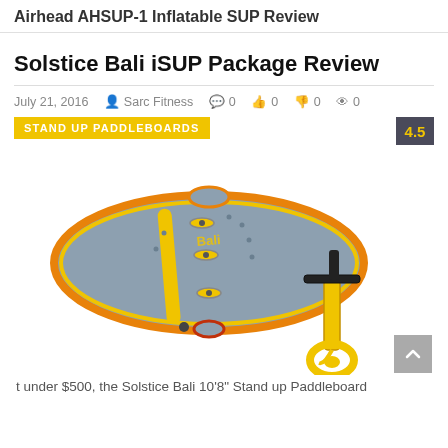Airhead AHSUP-1 Inflatable SUP Review
Solstice Bali iSUP Package Review
July 21, 2016  Sarc Fitness  0  0  0  0
STAND UP PADDLEBOARDS  4.5
[Figure (photo): Solstice Bali inflatable stand up paddleboard shown from above, grey with yellow accents and straps, alongside a yellow hand pump with black handle.]
t under $500, the Solstice Bali 10'8" Stand up Paddleboard